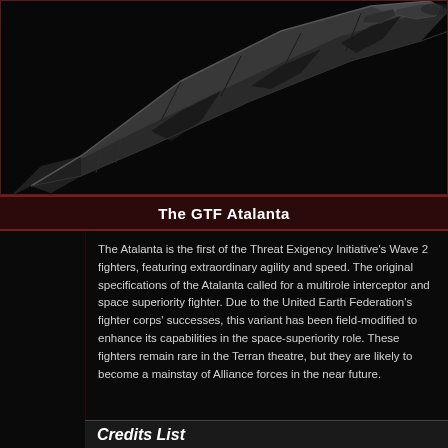[Figure (illustration): A dark sci-fi spacecraft (GTF Atalanta fighter) shown against a black background, viewed from an angle revealing its sleek angular hull with metallic dark grey panels and geometric details.]
The GTF Atalanta
The Atalanta is the first of the Threat Exigency Initiative's Wave 2 fighters, featuring extraordinary agility and speed. The original specifications of the Atalanta called for a multirole interceptor and space superiority fighter. Due to the United Earth Federation's fighter corps' successes, this variant has been field-modified to enhance its capabilities in the space-superiority role. These fighters remain rare in the Terran theatre, but they are likely to become a mainstay of Alliance forces in the near future.
Credits List